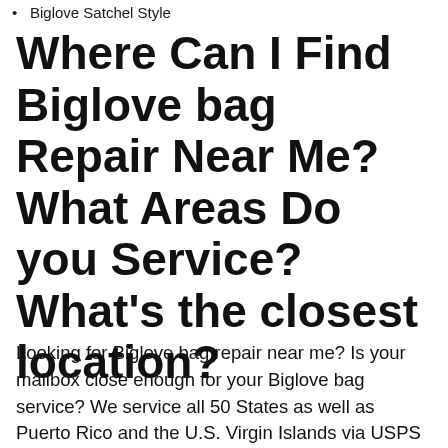Biglove Satchel Style
Where Can I Find Biglove bag Repair Near Me? What Areas Do you Service? What's the closest location?
Looking for Biglove bag repair near me? Is your mailbox close enough for your Biglove bag service? We service all 50 States as well as Puerto Rico and the U.S. Virgin Islands via USPS mailing.  As long as you have access to a USPS mailbox or store you can use Favorite